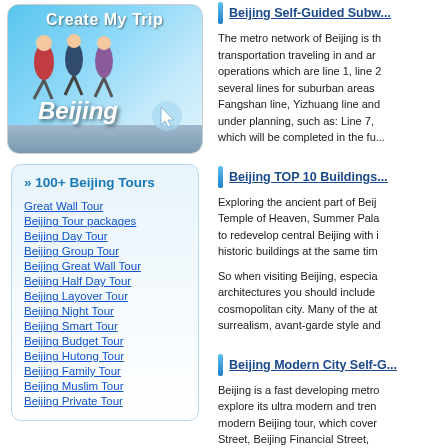[Figure (photo): Banner image showing people jumping on the Great Wall of Beijing with 'Create My Trip' text and 'Beijing' label, with a cursor icon]
» 100+ Beijing Tours
Great Wall Tour
Beijing Tour packages
Beijing Day Tour
Beijing Group Tour
Beijing Great Wall Tour
Beijing Half Day Tour
Beijing Layover Tour
Beijing Night Tour
Beijing Smart Tour
Beijing Budget Tour
Beijing Hutong Tour
Beijing Family Tour
Beijing Muslim Tour
Beijing Private Tour
Beijing Self-Guided Subw...
The metro network of Beijing is the transportation traveling in and ar... operations which are line 1, line 2,... several lines for suburban areas... Fangshan line, Yizhuang line and... under planning, such as: Line 7,... which will be completed in the fu...
Beijing TOP 10 Buildings...
Exploring the ancient part of Beij... Temple of Heaven, Summer Pala... to redevelop central Beijing with i... historic buildings at the same tim...
So when visiting Beijing, especia... architectures you should include... cosmopolitan city. Many of the at... surrealism, avant-garde style and...
Beijing Modern City Self-G...
Beijing is a fast developing metro... explore its ultra modern and tren... modern Beijing tour, which cover... Street, Beijing Financial Street,... Stadium (nest), National Swimm...